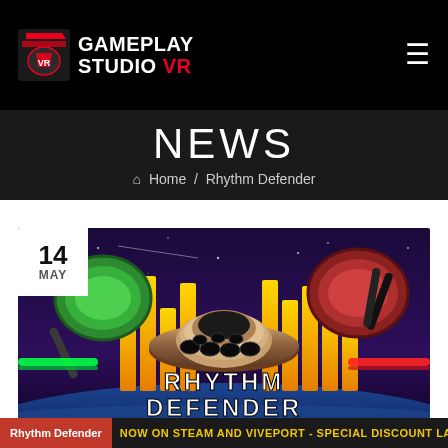GAMEPLAY STUDIO VR
NEWS
Home / Rhythm Defender
[Figure (illustration): Rhythm Defender game promotional banner showing 14 MAY date, colorful VR game artwork with a UFO-shaped controller, green and red drum pads, yellow equalizer bars, space background, and large 'RHYTHM DEFENDER' text. Bottom text: 'NOW ON STEAM AND VIVEPORT - SPECIAL DISCOUNT LAUNCH']
Rhythm Defender